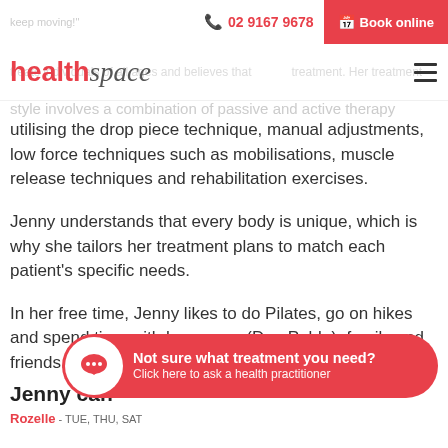02 9167 9678  Book online
[Figure (logo): healthspace logo in red and grey italic]
utilising the drop piece technique, manual adjustments, low force techniques such as mobilisations, muscle release techniques and rehabilitation exercises.
Jenny understands that every body is unique, which is why she tailors her treatment plans to match each patient's specific needs.
In her free time, Jenny likes to do Pilates, go on hikes and spend time with her puppy (Don Pablo), family and friends.
Jenny can
Rozelle - TUE, THU, SAT
[Figure (infographic): Red rounded chat bubble with white circle icon and three dots, text: Not sure what treatment you need? Click here to ask a health practitioner]